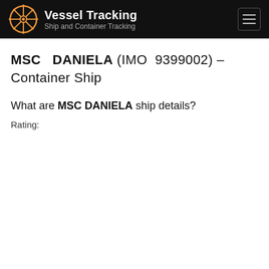Vessel Tracking — Ship and Container Tracking
MSC DANIELA (IMO 9399002) – Container Ship
What are MSC DANIELA ship details?
Rating: